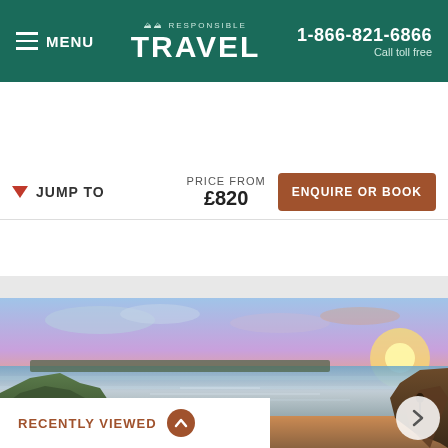MENU | Responsible TRAVEL | 1-866-821-6866 Call toll free
JUMP TO | PRICE FROM £820 | ENQUIRE OR BOOK
PEMBROKESHIRE COAST WALKING HOLIDAY
[Figure (photo): Scenic coastal landscape showing cliffs, calm sea waters, and a dramatic sunset sky with orange and purple hues over Pembrokeshire coast]
RECENTLY VIEWED